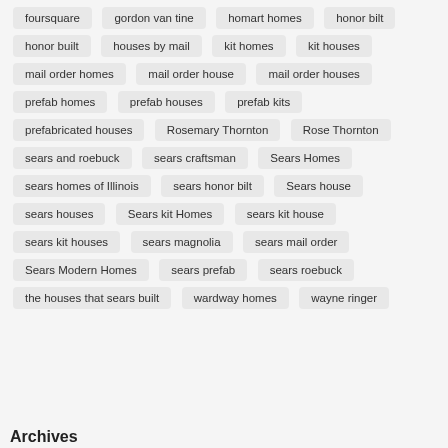foursquare | gordon van tine | homart homes | honor bilt | honor built | houses by mail | kit homes | kit houses | mail order homes | mail order house | mail order houses | prefab homes | prefab houses | prefab kits | prefabricated houses | Rosemary Thornton | Rose Thornton | sears and roebuck | sears craftsman | Sears Homes | sears homes of Illinois | sears honor bilt | Sears house | sears houses | Sears kit Homes | sears kit house | sears kit houses | sears magnolia | sears mail order | Sears Modern Homes | sears prefab | sears roebuck | the houses that sears built | wardway homes | wayne ringer
Archives